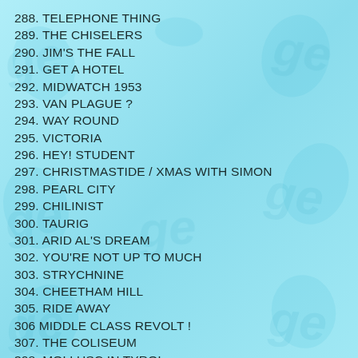288. TELEPHONE THING
289. THE CHISELERS
290. JIM'S THE FALL
291. GET A HOTEL
292. MIDWATCH 1953
293. VAN PLAGUE ?
294. WAY ROUND
295. VICTORIA
296. HEY! STUDENT
297. CHRISTMASTIDE / XMAS WITH SIMON
298. PEARL CITY
299. CHILINIST
300. TAURIG
301. ARID AL'S DREAM
302. YOU'RE NOT UP TO MUCH
303. STRYCHNINE
304. CHEETHAM HILL
305. RIDE AWAY
306 MIDDLE CLASS REVOLT !
307. THE COLISEUM
308. MOLLUSC IN TYROL
309. THE KNIGHT, THE DEVIL AND DEATH